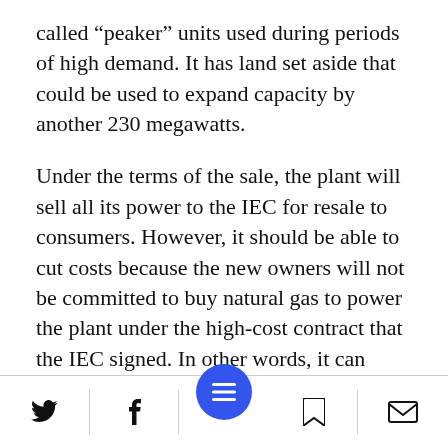called “peaker” units used during periods of high demand. It has land set aside that could be used to expand capacity by another 230 megawatts.
Under the terms of the sale, the plant will sell all its power to the IEC for resale to consumers. However, it should be able to cut costs because the new owners will not be committed to buy natural gas to power the plant under the high-cost contract that the IEC signed. In other words, it can negotiate its own lower-cost deals.
[Twitter icon] [Facebook icon] [Menu button] [Bookmark icon] [Email icon]